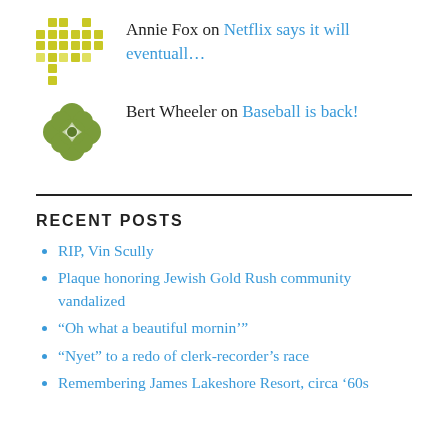Annie Fox on Netflix says it will eventuall…
Bert Wheeler on Baseball is back!
RECENT POSTS
RIP, Vin Scully
Plaque honoring Jewish Gold Rush community vandalized
“Oh what a beautiful mornin’”
“Nyet” to a redo of clerk-recorder’s race
Remembering James Lakeshore Resort, circa ’60s